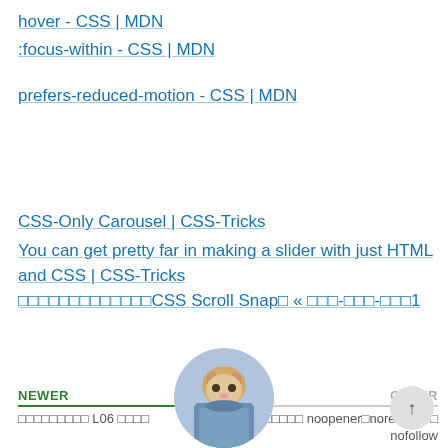hover - CSS | MDN
:focus-within - CSS | MDN
prefers-reduced-motion - CSS | MDN
CSS-Only Carousel | CSS-Tricks
You can get pretty far in making a slider with just HTML and CSS | CSS-Tricks
□□□□□□□□□□□□□CSS Scroll Snap□ « □□□-□□□-□□□1
NEWER
OLDER
□□□□□□□□□ L06 □□□□
□□□□□□ noopener□noreferrer □ nofollow